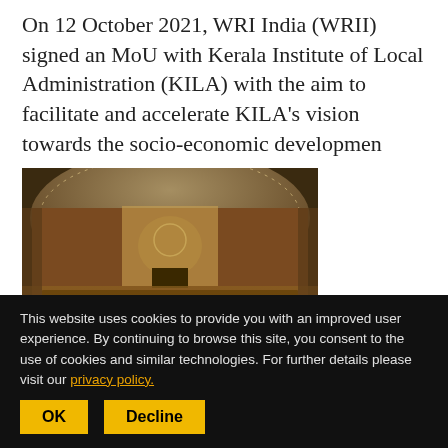On 12 October 2021, WRI India (WRII) signed an MoU with Kerala Institute of Local Administration (KILA) with the aim to facilitate and accelerate KILA's vision towards the socio-economic developmen
[Figure (photo): Interior of a large assembly hall, likely the United Nations General Assembly hall, showing curved ceiling with lights, a central podium/dais at the front with UN emblem, and rows of seated delegates filling the hall.]
September 25, 2021, NEW DELHI: Speaking at the United Nations General Assembly in New York, Prime Minister Narendra Modi reaffirmed India's
This website uses cookies to provide you with an improved user experience. By continuing to browse this site, you consent to the use of cookies and similar technologies. For further details please visit our privacy policy.